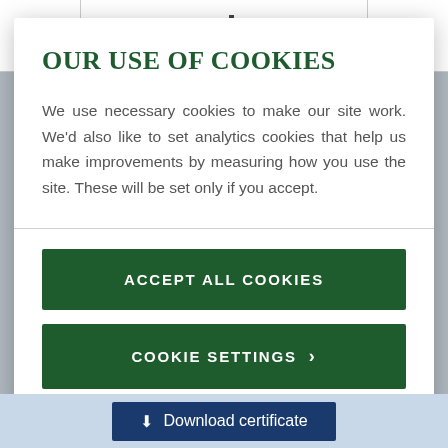Navigation bar with hamburger menu, barcode/logo icon, and search icon
OUR USE OF COOKIES
We use necessary cookies to make our site work. We'd also like to set analytics cookies that help us make improvements by measuring how you use the site. These will be set only if you accept.
ACCEPT ALL COOKIES
COOKIE SETTINGS >
Download certificate